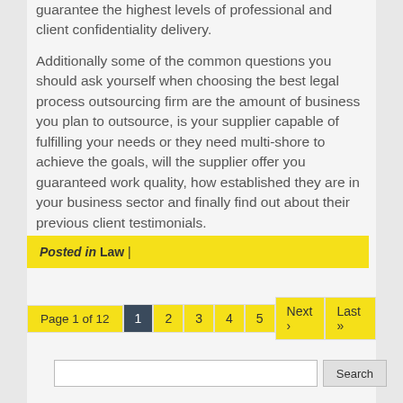guarantee the highest levels of professional and client confidentiality delivery.
Additionally some of the common questions you should ask yourself when choosing the best legal process outsourcing firm are the amount of business you plan to outsource, is your supplier capable of fulfilling your needs or they need multi-shore to achieve the goals, will the supplier offer you guaranteed work quality, how established they are in your business sector and finally find out about their previous client testimonials.
Posted in Law |
Page 1 of 12  1  2  3  4  5  Next ›  Last »
Search